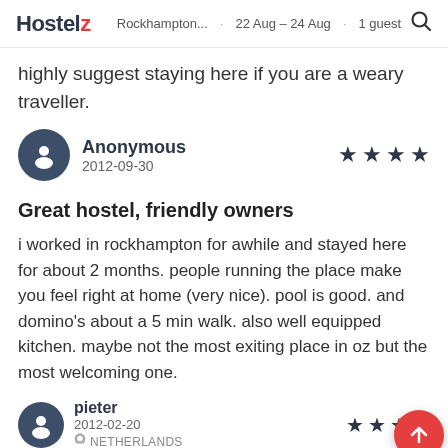Hostelz · Rockhampton... · 22 Aug – 24 Aug · 1 guest
highly suggest staying here if you are a weary traveller.
Anonymous · 2012-09-30 ★★★★
Great hostel, friendly owners
i worked in rockhampton for awhile and stayed here for about 2 months. people running the place make you feel right at home (very nice). pool is good. and domino's about a 5 min walk. also well equipped kitchen. maybe not the most exiting place in oz but the most welcoming one.
pieter · 2012-02-20 · NETHERLANDS ★★★★